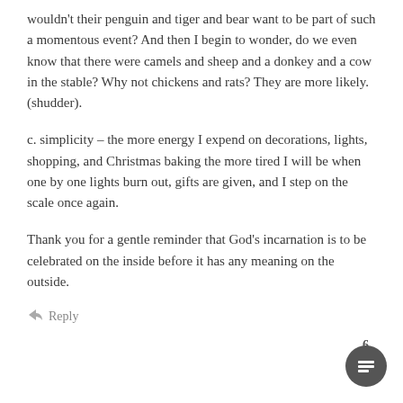wouldn't their penguin and tiger and bear want to be part of such a momentous event? And then I begin to wonder, do we even know that there were camels and sheep and a donkey and a cow in the stable? Why not chickens and rats? They are more likely. (shudder).
c. simplicity – the more energy I expend on decorations, lights, shopping, and Christmas baking the more tired I will be when one by one lights burn out, gifts are given, and I step on the scale once again.
Thank you for a gentle reminder that God's incarnation is to be celebrated on the inside before it has any meaning on the outside.
Reply
6